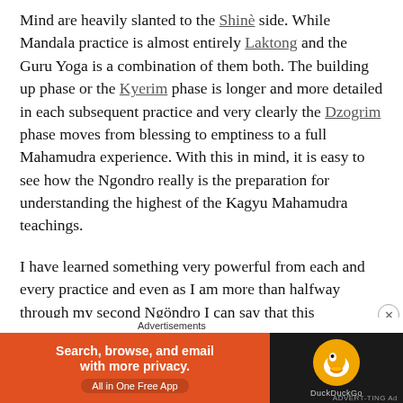Mind are heavily slanted to the Shinè side. While Mandala practice is almost entirely Laktong and the Guru Yoga is a combination of them both. The building up phase or the Kyerim phase is longer and more detailed in each subsequent practice and very clearly the Dzogrim phase moves from blessing to emptiness to a full Mahamudra experience. With this in mind, it is easy to see how the Ngondro really is the preparation for understanding the highest of the Kagyu Mahamudra teachings.
I have learned something very powerful from each and every practice and even as I am more than halfway through my second Ngöndro I can say that this experience keeps developing deepening far beyond what I could have imagined in the beginning. I have even considered doing Ngondro for the
Advertisements
[Figure (screenshot): DuckDuckGo advertisement banner: orange section with text 'Search, browse, and email with more privacy. All in One Free App' and dark section with DuckDuckGo duck logo]